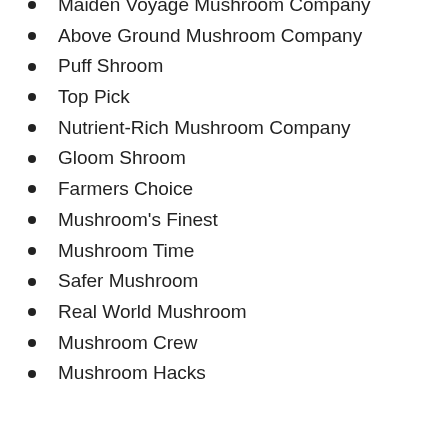Maiden Voyage Mushroom Company
Above Ground Mushroom Company
Puff Shroom
Top Pick
Nutrient-Rich Mushroom Company
Gloom Shroom
Farmers Choice
Mushroom's Finest
Mushroom Time
Safer Mushroom
Real World Mushroom
Mushroom Crew
Mushroom Hacks